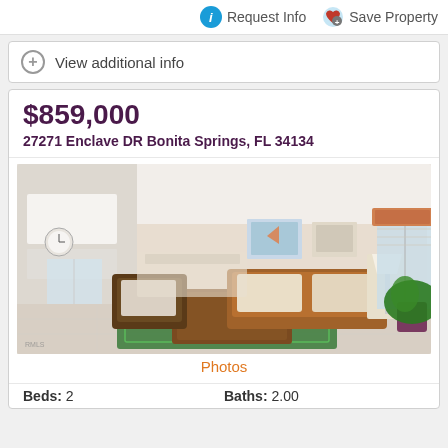Request Info   Save Property
View additional info
$859,000
27271 Enclave DR Bonita Springs, FL 34134
[Figure (photo): Interior living room photo of property showing open floor plan with sofa, armchair, coffee table, green rug, and view to kitchen/dining area]
Photos
Beds: 2   Baths: 2.00